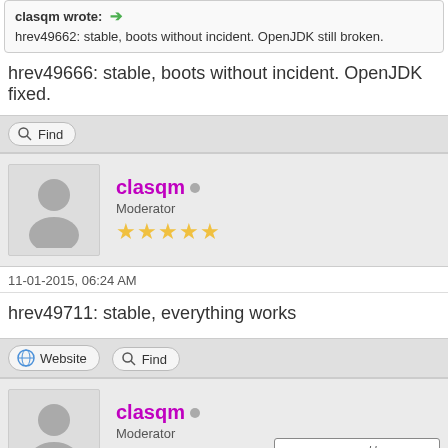clasqm wrote:
hrev49662: stable, boots without incident. OpenJDK still broken.
hrev49666: stable, boots without incident. OpenJDK fixed.
[Figure (other): Find button with magnifier icon]
[Figure (other): User card for clasqm - Moderator with 5 stars, online indicator dot, avatar silhouette]
11-01-2015, 06:24 AM
hrev49711: stable, everything works
[Figure (other): Website button and Find button in action bar]
[Figure (other): User card for clasqm - Moderator with 5 stars, avatar silhouette, and FreeWHA.com powered-by badge]